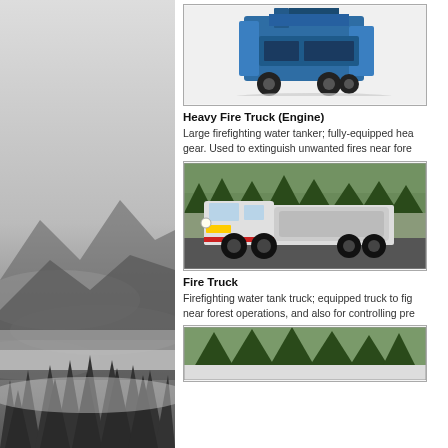[Figure (photo): Blue industrial heavy equipment machine on wheels - appears to be a logging/forestry processing machine]
Heavy Fire Truck (Engine)
Large firefighting water tanker; fully-equipped hea gear. Used to extinguish unwanted fires near fore
[Figure (photo): Heavy military-style white fire truck with large water tank on a paved road with trees in background]
Fire Truck
Firefighting water tank truck; equipped truck to fig near forest operations, and also for controlling pre
[Figure (photo): Partial view of another fire truck with trees in background]